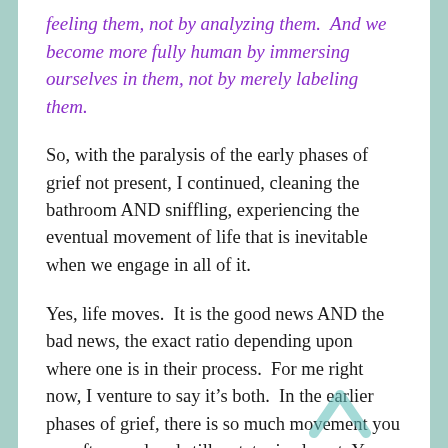feeling them, not by analyzing them.  And we become more fully human by immersing ourselves in them, not by merely labeling them.
So, with the paralysis of the early phases of grief not present, I continued, cleaning the bathroom AND sniffling, experiencing the eventual movement of life that is inevitable when we engage in all of it.
Yes, life moves.  It is the good news AND the bad news, the exact ratio depending upon where one is in their process.  For me right now, I venture to say it’s both.  In the earlier phases of grief, there is so much movement you are often rendered still, catatonic almost.  You practically need to grow another body, or maybe away, to meet the slow oncoming...